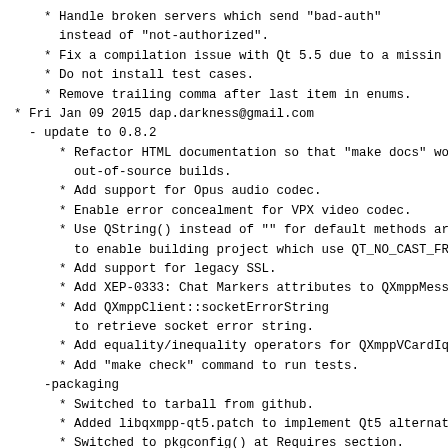* Handle broken servers which send "bad-auth"
      instead of "not-authorized".
* Fix a compilation issue with Qt 5.5 due to a missin
* Do not install test cases.
* Remove trailing comma after last item in enums.
* Fri Jan 09 2015 dap.darkness@gmail.com
- update to 0.8.2
* Refactor HTML documentation so that "make docs" wor
        out-of-source builds.
* Add support for Opus audio codec.
* Enable error concealment for VPX video codec.
* Use QString() instead of "" for default methods arg
        to enable building project which use QT_NO_CAST_FRO
* Add support for legacy SSL.
* Add XEP-0333: Chat Markers attributes to QXmppMessa
* Add QXmppClient::socketErrorString
        to retrieve socket error string.
* Add equality/inequality operators for QXmppVCardIq
* Add "make check" command to run tests.
-packaging
* Switched to tarball from github.
* Added libqxmpp-qt5.patch to implement Qt5 alternat
* Switched to pkgconfig() at Requires section.
* Broken old distros: SLE11, openSUSE~11.4.
* Let make be verbose.
* Added check section.
Files